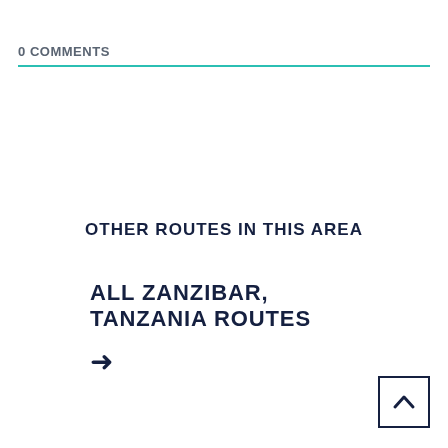0 COMMENTS
OTHER ROUTES IN THIS AREA
ALL ZANZIBAR, TANZANIA ROUTES →